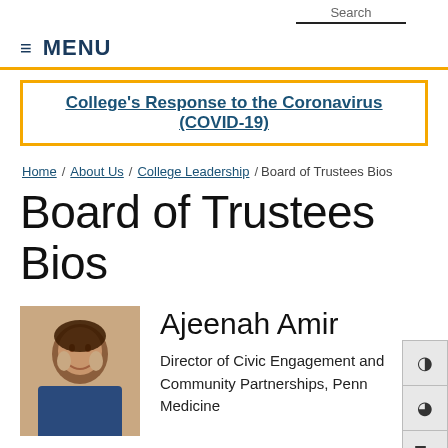Search
≡ MENU
College's Response to the Coronavirus (COVID-19)
Home / About Us / College Leadership / Board of Trustees Bios
Board of Trustees Bios
[Figure (photo): Headshot photo of Ajeenah Amir]
Ajeenah Amir
Director of Civic Engagement and Community Partnerships, Penn Medicine